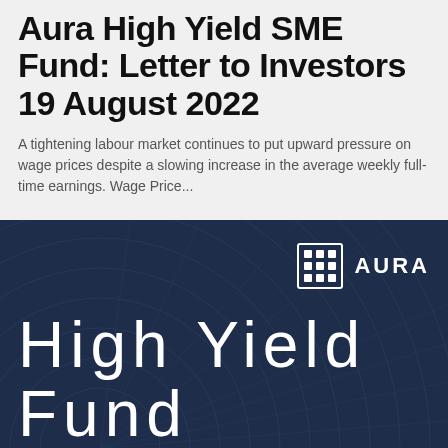Aura High Yield SME Fund: Letter to Investors 19 August 2022
A tightening labour market continues to put upward pressure on wage prices despite a slowing increase in the average weekly full-time earnings. Wage Price...
[Figure (illustration): Dark navy blue branded image with Aura logo (grid icon and AURA text) in upper right, and large white light-weight text reading 'High Yield Fund' over decorative circular line patterns]